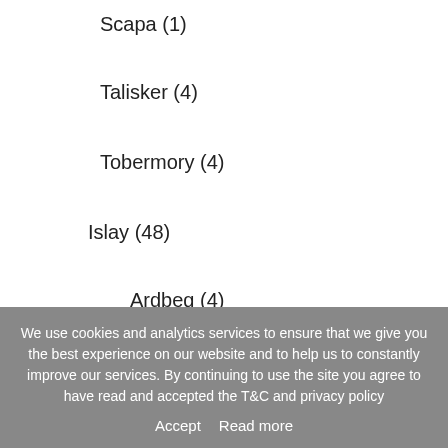Scapa (1)
Talisker (4)
Tobermory (4)
Islay (48)
Ardbeg (4)
Bowmore (4)
Bruichladdich (13)
Bunnahabhain (4)
We use cookies and analytics services to ensure that we give you the best experience on our website and to help us to constantly improve our services. By continuing to use the site you agree to have read and accepted the T&C and privacy policy
Accept   Read more